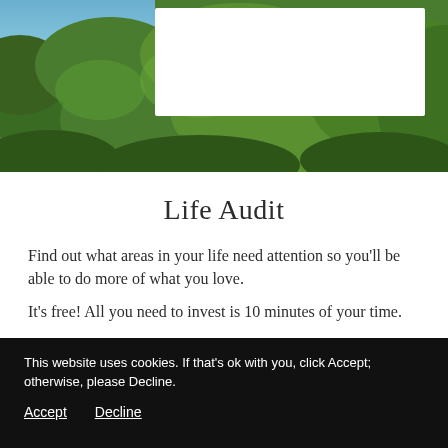[Figure (photo): A banner photograph showing a lush green forest/hedge landscape with blue sky visible in the upper left corner. A white rectangular overlay or logo box is visible in the upper center-left area of the image.]
Life Audit
Find out what areas in your life need attention so you’ll be able to do more of what you love.
It’s free! All you need to invest is 10 minutes of your time.
This website uses cookies. If that’s ok with you, click Accept; otherwise, please Decline.
Accept   Decline